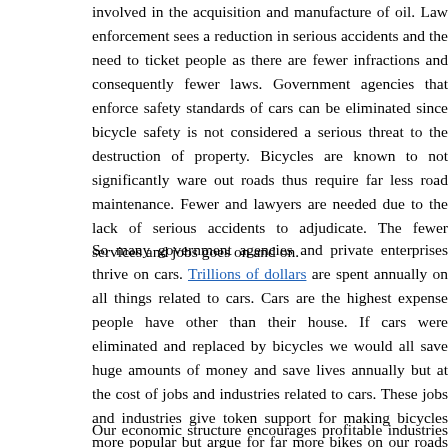involved in the acquisition and manufacture of oil. Law enforcement sees a reduction in serious accidents and the need to ticket people as there are fewer infractions and consequently fewer laws. Government agencies that enforce safety standards of cars can be eliminated since bicycle safety is not considered a serious threat to the destruction of property. Bicycles are known to not significantly ware out roads thus require far less road maintenance. Fewer and lawyers are needed due to the lack of serious accidents to adjudicate. The fewer services and jobs goes on and on.
So many government agencies and private enterprises thrive on cars. Trillions of dollars are spent annually on all things related to cars. Cars are the highest expense people have other than their house. If cars were eliminated and replaced by bicycles we would all save huge amounts of money and save lives annually but at the cost of jobs and industries related to cars. These jobs and industries give token support for making bicycles more popular but argue for far more bikes on our roads to significantly reduce the number of cars, cost of living, traffic congestion, pollution, and more safer commutes.
Our economic structure encourages profitable industries to